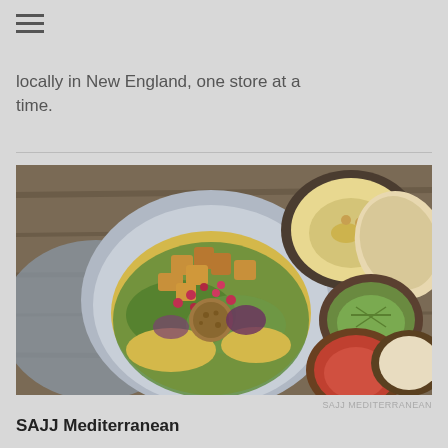locally in New England, one store at a time.
[Figure (photo): Mediterranean food bowl with falafel, yellow rice, greens, pomegranate seeds, and roasted vegetables in a blue bowl, surrounded by small bowls of hummus, herbs, red sauce, and cream sauce with pita bread on a wooden table.]
SAJJ MEDITERRANEAN
SAJJ Mediterranean
HQ: Belmont, California
Units: 9